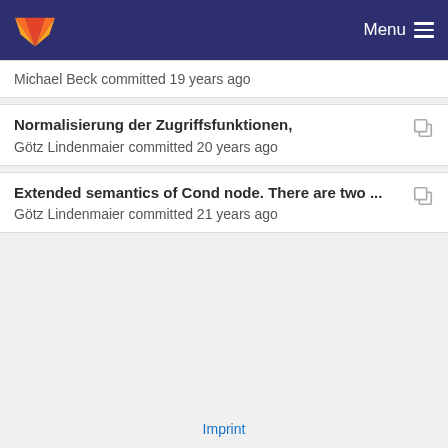GitLab — Menu
Michael Beck committed 19 years ago
Normalisierung der Zugriffsfunktionen,
Götz Lindenmaier committed 20 years ago
Extended semantics of Cond node. There are two ...
Götz Lindenmaier committed 21 years ago
Imprint